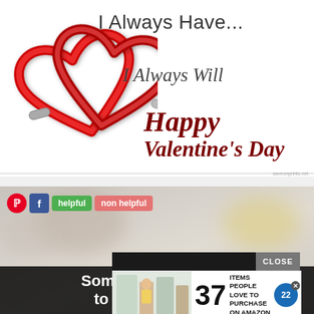[Figure (illustration): Valentine's Day greeting image with two interlocked red metallic heart-shaped carabiners on white background. Text reads 'I Always Have...' in dark letters top right, 'I Always Will' in italic dark letters middle right, and 'Happy Valentine's Day' in bold italic dark red letters lower right.]
[Figure (screenshot): Bottom section showing a blurred photo background with social sharing toolbar (Pinterest red circle button, Facebook blue square button, green 'helpful' button, red 'non helpful' button). Overlaid advertisement banner showing '37 ITEMS PEOPLE LOVE TO PURCHASE ON AMAZON' with 22 Words logo. Black overlay at bottom with white text 'Sometimes, we need to stop analyzing'.]